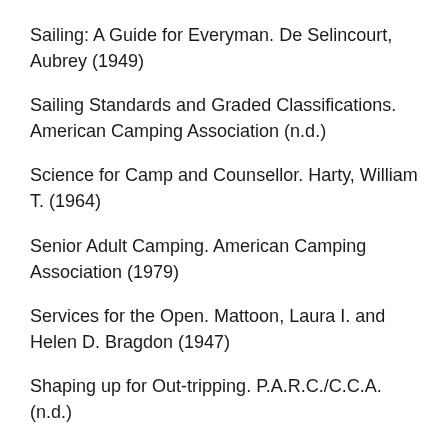Sailing: A Guide for Everyman. De Selincourt, Aubrey (1949)
Sailing Standards and Graded Classifications. American Camping Association (n.d.)
Science for Camp and Counsellor. Harty, William T. (1964)
Senior Adult Camping. American Camping Association (1979)
Services for the Open. Mattoon, Laura I. and Helen D. Bragdon (1947)
Shaping up for Out-tripping. P.A.R.C./C.C.A. (n.d.)
Sing Along. Y.W.C.A. (1957)
Sing Along the Way. Y.W.C.A. (1953) (x2)